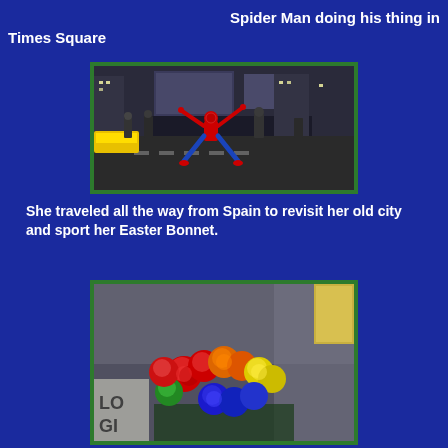Spider Man doing his thing in Times Square
[Figure (photo): Person dressed in Spider-Man costume posing dramatically in Times Square at night, with pedestrians and city lights in the background]
She traveled all the way from Spain to revisit her old city and sport her Easter Bonnet.
[Figure (photo): Colorful rainbow bouquet of roses in red, orange, yellow, green, blue colors, viewed from above]